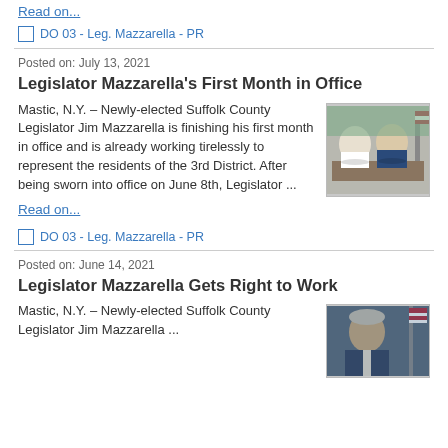Read on...
DO 03 - Leg. Mazzarella - PR
Posted on: July 13, 2021
Legislator Mazzarella's First Month in Office
Mastic, N.Y. – Newly-elected Suffolk County Legislator Jim Mazzarella is finishing his first month in office and is already working tirelessly to represent the residents of the 3rd District. After being sworn into office on June 8th, Legislator ...
[Figure (photo): Two men sitting at a desk, with an American flag in the background.]
Read on...
DO 03 - Leg. Mazzarella - PR
Posted on: June 14, 2021
Legislator Mazzarella Gets Right to Work
Mastic, N.Y. – Newly-elected Suffolk County Legislator Jim Mazzarella ...
[Figure (photo): Portrait photo of a person, with an American flag visible.]